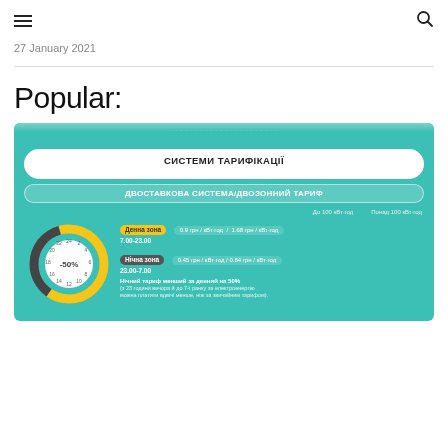≡  🔍
27 January 2021
Popular:
[Figure (infographic): Ukrainian electricity tariff infographic showing СИСТЕМИ ТАРИФІКАЦІЇ (Tariff Systems) - ДВОСТАВКОВА СИСТЕМА/ДВОЗОННИЙ ТАРИФ (Two-rate system/Two-zone tariff). Clock diagram showing day zone (Денна зона) 7.00-23.00: 0.9 грн/кВт·год / 1.68 грн/кВт·год and night zone (Нічна зона) 23.00-7.00: 0.45 грн/кВт·год / 0.84 грн/кВт·год. Night tariff is 50% less than day tariff.]